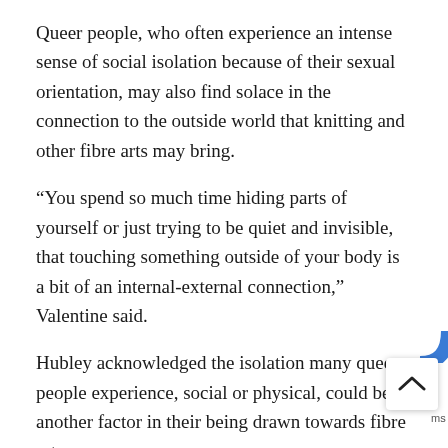Queer people, who often experience an intense sense of social isolation because of their sexual orientation, may also find solace in the connection to the outside world that knitting and other fibre arts may bring.
“You spend so much time hiding parts of yourself or just trying to be quiet and invisible, that touching something outside of your body is a bit of an internal-external connection,” Valentine said.
Hubley acknowledged the isolation many queer people experience, social or physical, could be another factor in their being drawn towards fibre arts.
“Sometimes it’s being exiled. You have a lot of time on your hands,” he said. But at the same time, knitting can fulfill a desire for community. Gay knitting groups such as Hub and progressive groups such as Rollit’s, which she says